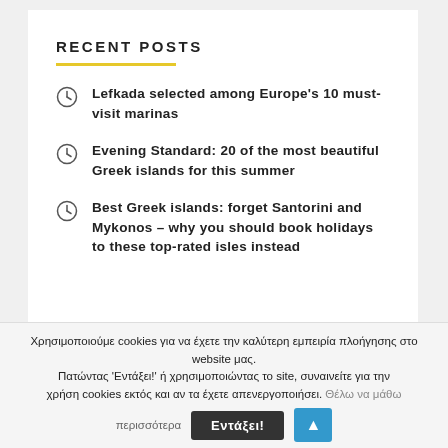RECENT POSTS
Lefkada selected among Europe's 10 must-visit marinas
Evening Standard: 20 of the most beautiful Greek islands for this summer
Best Greek islands: forget Santorini and Mykonos – why you should book holidays to these top-rated isles instead
Χρησιμοποιούμε cookies για να έχετε την καλύτερη εμπειρία πλοήγησης στο website μας. Πατώντας 'Εντάξει!' ή χρησιμοποιώντας το site, συναινείτε για την χρήση cookies εκτός και αν τα έχετε απενεργοποιήσει. Θέλω να μάθω περισσότερα
Εντάξει!